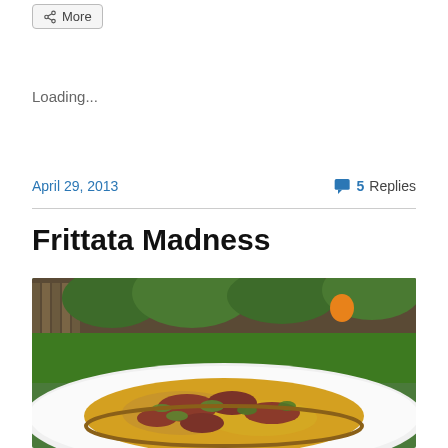More
Loading...
April 29, 2013
5 Replies
Frittata Madness
[Figure (photo): Close-up photo of a frittata slice on a white plate, showing eggs, vegetables (green peppers), and meat pieces, with a garden/outdoor background with green plants and wooden fence visible.]